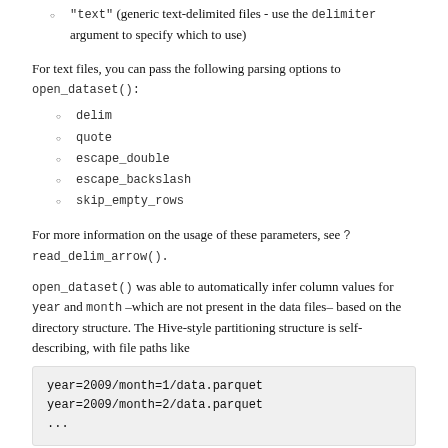"text" (generic text-delimited files - use the delimiter argument to specify which to use)
For text files, you can pass the following parsing options to open_dataset():
delim
quote
escape_double
escape_backslash
skip_empty_rows
For more information on the usage of these parameters, see ? read_delim_arrow().
open_dataset() was able to automatically infer column values for year and month –which are not present in the data files– based on the directory structure. The Hive-style partitioning structure is self-describing, with file paths like
But sometimes the directory partitioning isn't self describing; that is, it doesn't contain field names. For example, if instead